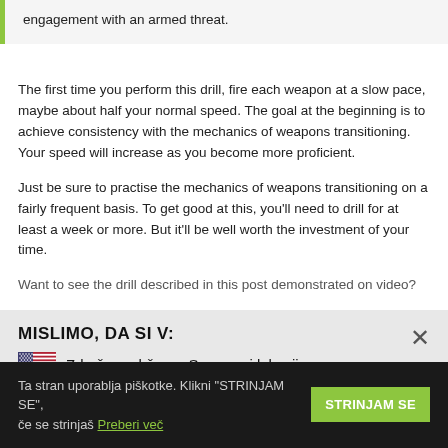engagement with an armed threat.
The first time you perform this drill, fire each weapon at a slow pace, maybe about half your normal speed. The goal at the beginning is to achieve consistency with the mechanics of weapons transitioning. Your speed will increase as you become more proficient.
Just be sure to practise the mechanics of weapons transitioning on a fairly frequent basis. To get good at this, you’ll need to drill for at least a week or more. But it’ll be well worth the investment of your time.
Want to see the drill described in this post demonstrated on video?
MISLIMO, DA SI V:
Združene države   Spremeni lokacijo
Ta stran uporablja piškotke. Klikni "STRINJAM SE", če se strinjaš Preberi več